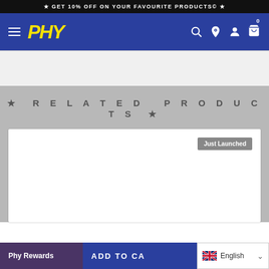★ GET 10% OFF ON YOUR FAVOURITE PRODUCTS© ★
[Figure (logo): PHY brand logo in yellow italic bold text on blue navigation bar with hamburger menu, search icon, location pin icon, user icon, and cart icon with 0 badge]
★ RELATED PRODUCTS ★
[Figure (screenshot): White product card with 'Just Launched' badge in grey on the top right]
Phy Rewards
ADD TO CA
English